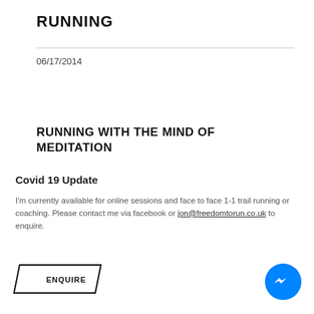RUNNING
06/17/2014
RUNNING WITH THE MIND OF MEDITATION
Covid 19 Update
I'm currently available for online sessions and face to face 1-1 trail running or coaching. Please contact me via facebook or jon@freedomtorun.co.uk to enquire.
ENQUIRE